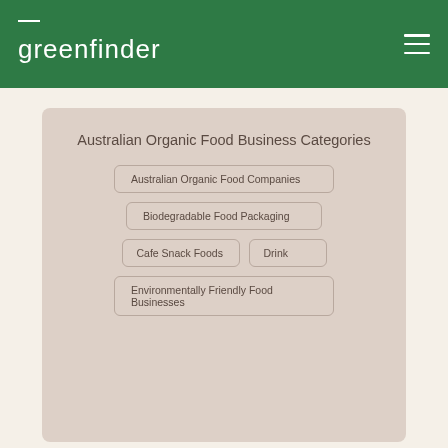greenfinder
Australian Organic Food Business Categories
Australian Organic Food Companies
Biodegradable Food Packaging
Cafe Snack Foods
Drink
Environmentally Friendly Food Businesses